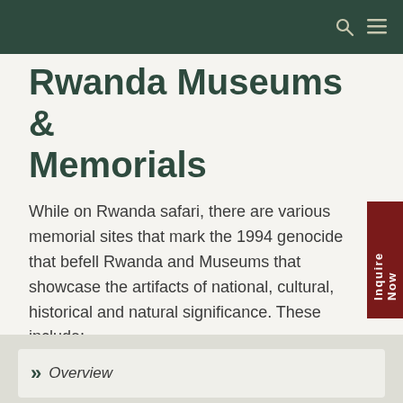Rwanda Museums & Memorials
While on Rwanda safari, there are various memorial sites that mark the 1994 genocide that befell Rwanda and Museums that showcase the artifacts of national, cultural, historical and natural significance. These include;
Overview